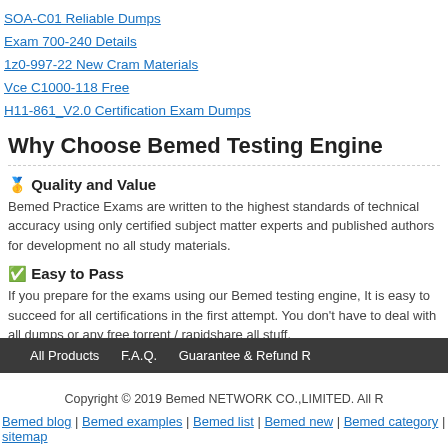SOA-C01 Reliable Dumps
Exam 700-240 Details
1z0-997-22 New Cram Materials
Vce C1000-118 Free
H11-861_V2.0 Certification Exam Dumps
Why Choose Bemed Testing Engine
🥇 Quality and Value
Bemed Practice Exams are written to the highest standards of technical accuracy using only certified subject matter experts and published authors for development no all study materials.
✅ Easy to Pass
If you prepare for the exams using our Bemed testing engine, It is easy to succeed for all certifications in the first attempt. You don't have to deal with all dumps or any free torrent / rapidshare all stuff.
All Products   F.A.Q.   Guarantee & Refund R
Copyright © 2019 Bemed NETWORK CO.,LIMITED. All R
Bemed blog | Bemed examples | Bemed list | Bemed new | Bemed category | sitemap